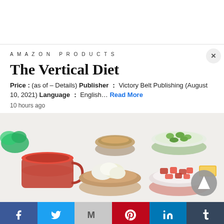AMAZON PRODUCTS
The Vertical Diet
Price : (as of – Details) Publisher ： Victory Belt Publishing (August 10, 2021) Language ： English… Read More
10 hours ago
[Figure (photo): Overhead photo of various food ingredients in bowls: tomato juice, chopped celery, cauliflower, diced tomatoes, seeds, herbs, and a piece of butter on a white surface.]